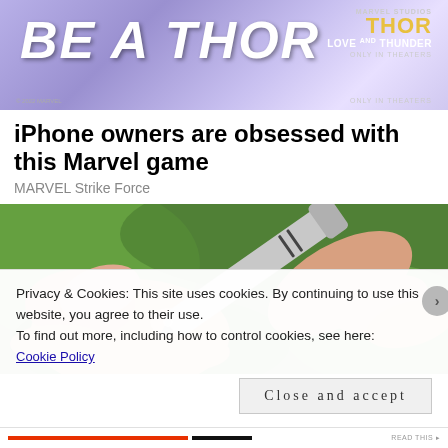[Figure (photo): Marvel Thor Love and Thunder advertisement banner with blue-purple gradient background and Thor movie logo on the right]
iPhone owners are obsessed with this Marvel game
MARVEL Strike Force
[Figure (photo): Close-up photo of a blood glucose testing device pricking a fingertip, with a green blurred background]
Privacy & Cookies: This site uses cookies. By continuing to use this website, you agree to their use.
To find out more, including how to control cookies, see here:
Cookie Policy
Close and accept